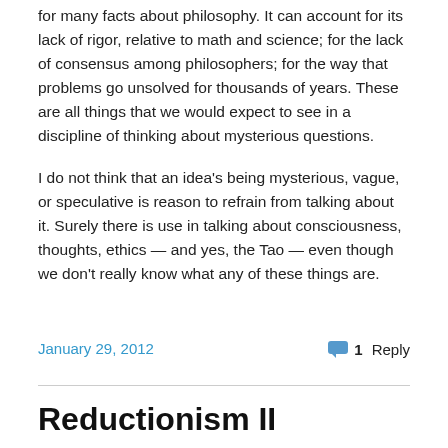for many facts about philosophy. It can account for its lack of rigor, relative to math and science; for the lack of consensus among philosophers; for the way that problems go unsolved for thousands of years. These are all things that we would expect to see in a discipline of thinking about mysterious questions.
I do not think that an idea's being mysterious, vague, or speculative is reason to refrain from talking about it. Surely there is use in talking about consciousness, thoughts, ethics — and yes, the Tao — even though we don't really know what any of these things are.
January 29, 2012
1 Reply
Reductionism II